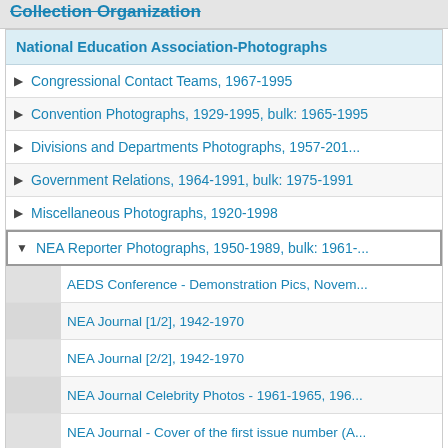Collection Organization
National Education Association-Photographs
Congressional Contact Teams, 1967-1995
Convention Photographs, 1929-1995, bulk: 1965-1995
Divisions and Departments Photographs, 1957-201...
Government Relations, 1964-1991, bulk: 1975-1991
Miscellaneous Photographs, 1920-1998
NEA Reporter Photographs, 1950-1989, bulk: 1961-...
AEDS Conference - Demonstration Pics, Novem...
NEA Journal [1/2], 1942-1970
NEA Journal [2/2], 1942-1970
NEA Journal Celebrity Photos - 1961-1965, 196...
NEA Journal - Cover of the first issue number (A...
NEA News/ NEA Report Photos (Crop Markings ...
NEA Reporter Box 1, File 11, 1971-1972
NEA Reporter Box 1, File 5, January 1972